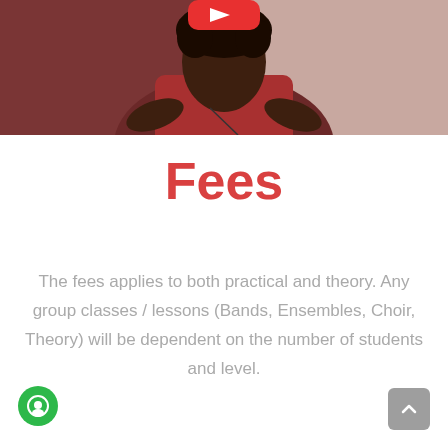[Figure (photo): Video thumbnail showing a person in a red top against a dark red/maroon background, with a YouTube play button partially visible at top]
Fees
The fees applies to both practical and theory. Any group classes / lessons (Bands, Ensembles, Choir, Theory) will be dependent on the number of students and level.